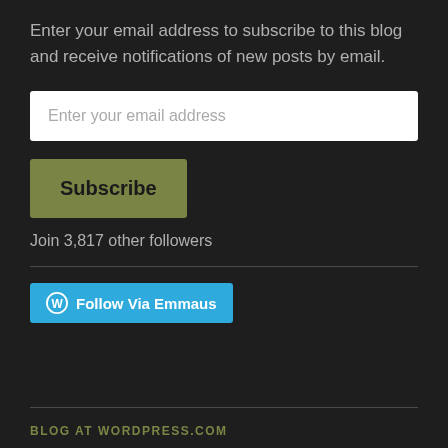Enter your email address to subscribe to this blog and receive notifications of new posts by email.
[Figure (screenshot): Email address input field with placeholder text 'Enter your email address']
[Figure (screenshot): Subscribe button in olive/green color]
Join 3,817 other followers
[Figure (screenshot): Follow Via Emmaus button in blue with WordPress logo]
BLOG AT WORDPRESS.COM